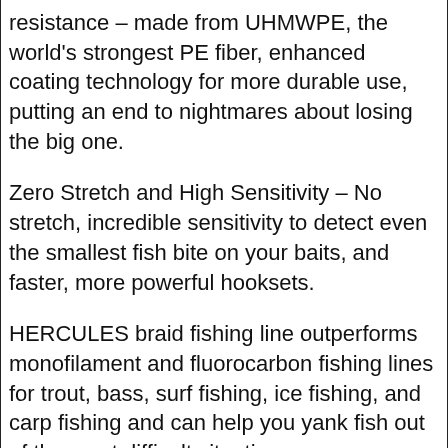resistance – made from UHMWPE, the world's strongest PE fiber, enhanced coating technology for more durable use, putting an end to nightmares about losing the big one.
Zero Stretch and High Sensitivity – No stretch, incredible sensitivity to detect even the smallest fish bite on your baits, and faster, more powerful hooksets.
HERCULES braid fishing line outperforms monofilament and fluorocarbon fishing lines for trout, bass, surf fishing, ice fishing, and carp fishing and can help you yank fish out of the most difficult situations.